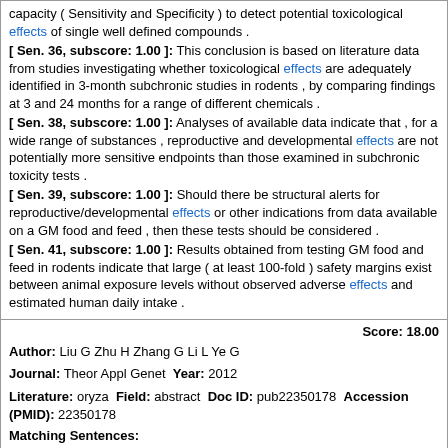capacity ( Sensitivity and Specificity ) to detect potential toxicological effects of single well defined compounds .
[ Sen. 36, subscore: 1.00 ]: This conclusion is based on literature data from studies investigating whether toxicological effects are adequately identified in 3-month subchronic studies in rodents , by comparing findings at 3 and 24 months for a range of different chemicals .
[ Sen. 38, subscore: 1.00 ]: Analyses of available data indicate that , for a wide range of substances , reproductive and developmental effects are not potentially more sensitive endpoints than those examined in subchronic toxicity tests .
[ Sen. 39, subscore: 1.00 ]: Should there be structural alerts for reproductive/developmental effects or other indications from data available on a GM food and feed , then these tests should be considered .
[ Sen. 41, subscore: 1.00 ]: Results obtained from testing GM food and feed in rodents indicate that large ( at least 100-fold ) safety margins exist between animal exposure levels without observed adverse effects and estimated human daily intake .
Score: 18.00
Author: Liu G Zhu H Zhang G Li L Ye G
Journal: Theor Appl Genet Year: 2012
Literature: oryza Field: abstract Doc ID: pub22350178 Accession (PMID): 22350178
Matching Sentences:
[ Sen. 10, subscore: 5.00 ]: Most of the QTLs show significant interactions with planting seasons and cropping densities , but the additive effects of QTLs Tn3-1 and Tn3-2 , the dominant effects of QTL Tn7 and Tn8 , and the epistatic effects of 14 pairs of QTLs are stable